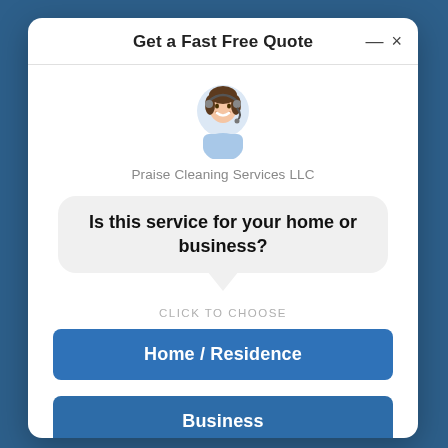Get a Fast Free Quote
[Figure (photo): Customer service representative with headset, smiling, wearing a light blue top]
Praise Cleaning Services LLC
Is this service for your home or business?
CLICK TO CHOOSE
Home / Residence
Business
2,081 people requested a quote!